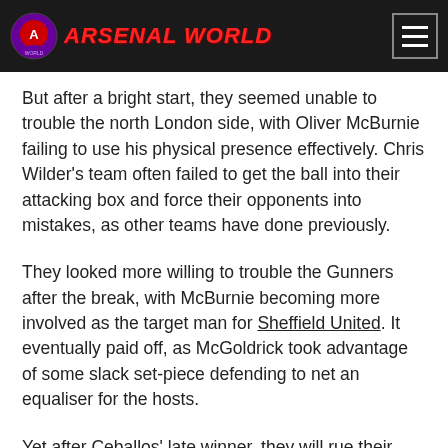ARSENAL WORLD
But after a bright start, they seemed unable to trouble the north London side, with Oliver McBurnie failing to use his physical presence effectively. Chris Wilder's team often failed to get the ball into their attacking box and force their opponents into mistakes, as other teams have done previously.
They looked more willing to trouble the Gunners after the break, with McBurnie becoming more involved as the target man for Sheffield United. It eventually paid off, as McGoldrick took advantage of some slack set-piece defending to net an equaliser for the hosts.
Yet after Ceballos' late winner, they will rue their lack of